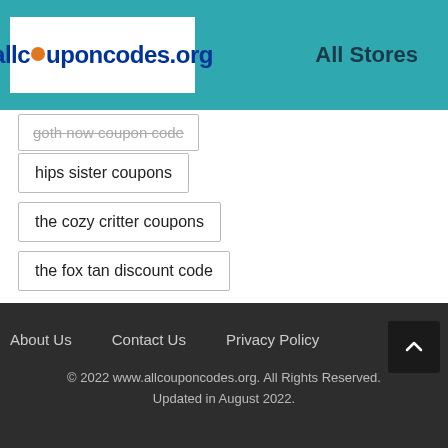[Figure (logo): allcouponcodes.org logo with orange circle replacing the letter o]
All Stores
goth now coupon code
hips sister coupons
the cozy critter coupons
the fox tan discount code
About Us   Contact Us   Privacy Policy
© 2022 www.allcouponcodes.org. All Rights Reserved. Updated in August 2022.